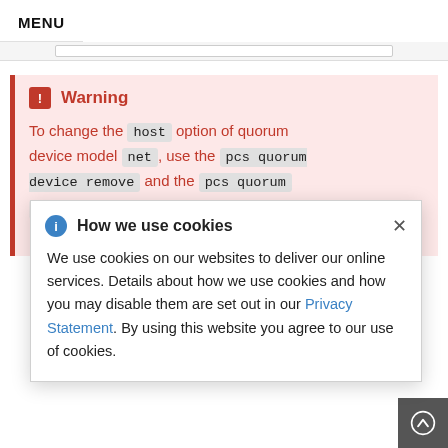MENU
Warning

To change the host option of quorum device model net, use the pcs quorum device remove and the pcs quorum device add commands to update the
How we use cookies

We use cookies on our websites to deliver our online services. Details about how we use cookies and how you may disable them are set out in our Privacy Statement. By using this website you agree to our use of cookies.